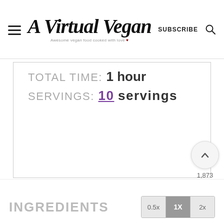A Virtual Vegan — Awesome vegan food cooked with love
TOTAL TIME: 1 hour
SERVINGS: 10 servings
1,873
INGREDIENTS
0.5x  1X  2x